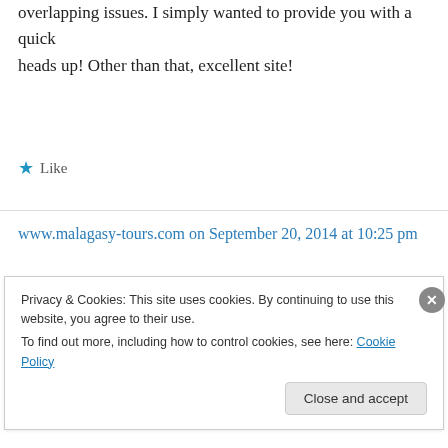overlapping issues. I simply wanted to provide you with a quick heads up! Other than that, excellent site!
★ Like
www.malagasy-tours.com on September 20, 2014 at 10:25 pm
Mauritius is among the top 5 best places to get married and take a honeymoon with its stunning scenery, warm
Privacy & Cookies: This site uses cookies. By continuing to use this website, you agree to their use.
To find out more, including how to control cookies, see here: Cookie Policy
Close and accept